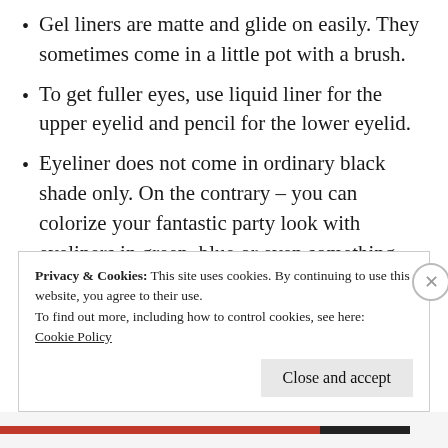Gel liners are matte and glide on easily. They sometimes come in a little pot with a brush.
To get fuller eyes, use liquid liner for the upper eyelid and pencil for the lower eyelid.
Eyeliner does not come in ordinary black shade only. On the contrary – you can colorize your fantastic party look with eyeliners in green, blue or even something more vigorous like orange or
Privacy & Cookies: This site uses cookies. By continuing to use this website, you agree to their use.
To find out more, including how to control cookies, see here:
Cookie Policy
Close and accept